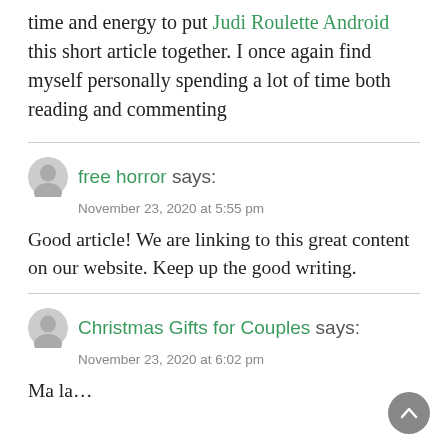time and energy to put Judi Roulette Android this short article together. I once again find myself personally spending a lot of time both reading and commenting
free horror says:
November 23, 2020 at 5:55 pm

Good article! We are linking to this great content on our website. Keep up the good writing.
Christmas Gifts for Couples says:
November 23, 2020 at 6:02 pm

Ma la...